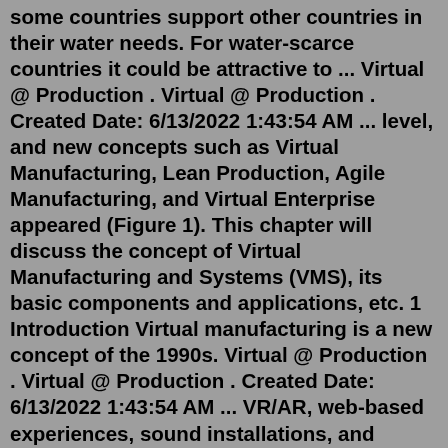some countries support other countries in their water needs. For water-scarce countries it could be attractive to ... Virtual @ Production . Virtual @ Production . Created Date: 6/13/2022 1:43:54 AM ... level, and new concepts such as Virtual Manufacturing, Lean Production, Agile Manufacturing, and Virtual Enterprise appeared (Figure 1). This chapter will discuss the concept of Virtual Manufacturing and Systems (VMS), its basic components and applications, etc. 1 Introduction Virtual manufacturing is a new concept of the 1990s. Virtual @ Production . Virtual @ Production . Created Date: 6/13/2022 1:43:54 AM ... VR/AR, web-based experiences, sound installations, and virtual production workflows. Throughout the semester we will explore the field of immersive media through readings, precedent artwork, and hands-on experience with production tools. We will specifically focus on the production pipelines that use real time simulations and game engines.Virtual @ Production . Virtual @ Production . Created Date: 6/13/2022